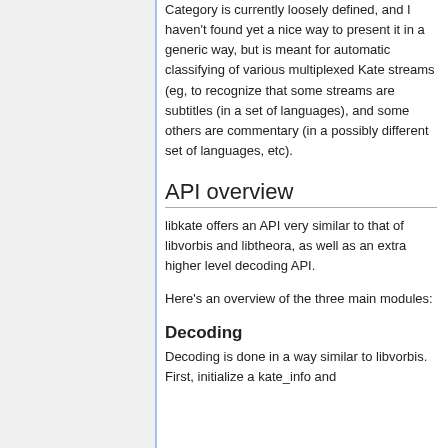Category is currently loosely defined, and I haven't found yet a nice way to present it in a generic way, but is meant for automatic classifying of various multiplexed Kate streams (eg, to recognize that some streams are subtitles (in a set of languages), and some others are commentary (in a possibly different set of languages, etc).
API overview
libkate offers an API very similar to that of libvorbis and libtheora, as well as an extra higher level decoding API.
Here's an overview of the three main modules:
Decoding
Decoding is done in a way similar to libvorbis. First, initialize a kate_info and